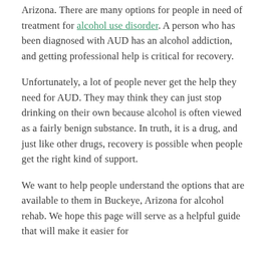Arizona. There are many options for people in need of treatment for alcohol use disorder. A person who has been diagnosed with AUD has an alcohol addiction, and getting professional help is critical for recovery.
Unfortunately, a lot of people never get the help they need for AUD. They may think they can just stop drinking on their own because alcohol is often viewed as a fairly benign substance. In truth, it is a drug, and just like other drugs, recovery is possible when people get the right kind of support.
We want to help people understand the options that are available to them in Buckeye, Arizona for alcohol rehab. We hope this page will serve as a helpful guide that will make it easier for